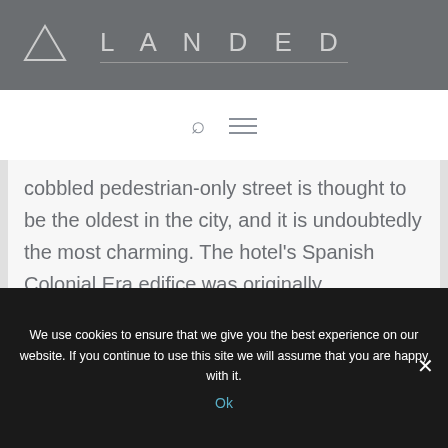LANDED
cobbled pedestrian-only street is thought to be the oldest in the city, and it is undoubtedly the most charming. The hotel's Spanish Colonial Era edifice was originally constructed in 1738. Inside [...]
We use cookies to ensure that we give you the best experience on our website. If you continue to use this site we will assume that you are happy with it.
Ok